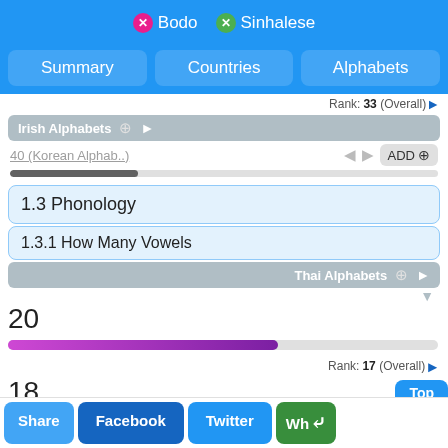X Bodo  X Sinhalese
Summary | Countries | Alphabets
Rank: 33 (Overall)
Irish Alphabets ⊕ ▶
40 (Korean Alphab..)   ◀▶   ADD ⊕
1.3 Phonology
1.3.1 How Many Vowels
Thai Alphabets ⊕ ▶
20
Rank: 17 (Overall)
18
Rank: 15 (Overall)
Hebrew Alphabets ⊕ ▶
10 (German Alphab..)   ◀▶   ADD ⊕
Top
ADD ⊕ Compare
Share  Facebook  Twitter  Wh<